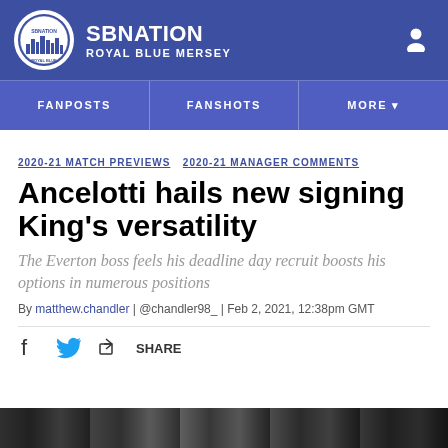SBNation — Royal Blue Mersey
FANPOSTS
FANSHOTS
MORE
2020-21 MATCH PREVIEWS  2020-21 MANAGER COMMENTS
Ancelotti hails new signing King's versatility
The Everton boss feels his deadline day recruit boosts his options in numerous positions
By matthew.chandler | @chandler98_ | Feb 2, 2021, 12:38pm GMT
[Figure (photo): Bottom image strip showing a dark crowd/match photo]